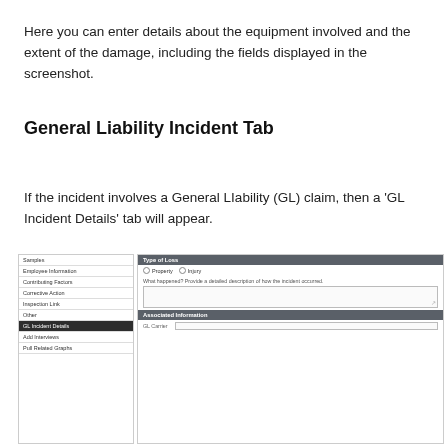Here you can enter details about the equipment involved and the extent of the damage, including the fields displayed in the screenshot.
General Liability Incident Tab
If the incident involves a General LIability (GL) claim, then a 'GL Incident Details' tab will appear.
[Figure (screenshot): Screenshot of a GL Incident Details form interface showing a left navigation panel with items including Employee Information, Contributing Factors, Corrective Action, Inspection Link, Other, and a highlighted GL Incident Details tab, plus Add Interviews and Pull Related Graphs options. The right panel shows Type of Loss section with Property and Injury radio buttons, a What happened text area, and an Associated Information section with a GL Carrier field.]